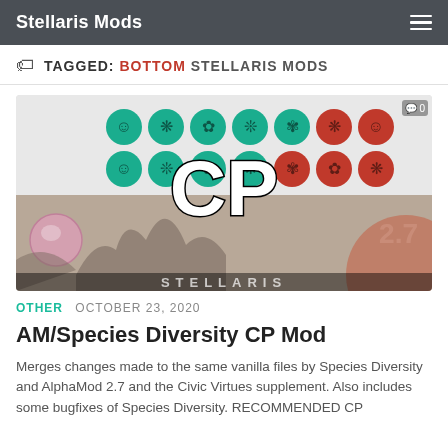Stellaris Mods
TAGGED: BOTTOM STELLARIS MODS
[Figure (screenshot): Screenshot from AM/Species Diversity CP Mod showing species portrait icons in green and red circles arranged in a grid, with 'CP' text overlay in large black letters, '2.7' in white bottom-right, a stylized orb bottom-left, and 'STELLARIS' watermark at the bottom.]
OTHER  OCTOBER 23, 2020
AM/Species Diversity CP Mod
Merges changes made to the same vanilla files by Species Diversity and AlphaMod 2.7 and the Civic Virtues supplement. Also includes some bugfixes of Species Diversity. RECOMMENDED CP